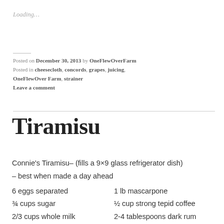Loading…
Posted on December 30, 2013 by OneFlewOverFarm
Posted in cheesecloth, concords, grapes, juicing, OneFlewOver Farm, strainer
Leave a comment
Tiramisu
Connie's Tiramisu– (fills a 9×9 glass refrigerator dish) – best when made a day ahead
6 eggs separated        1 lb mascarpone
¾ cups sugar            ½ cup strong tepid coffee
2/3 cups whole milk     2-4 tablespoons dark rum
1 ¼ cups heavy cream    2-4 tablespoons Kahlua